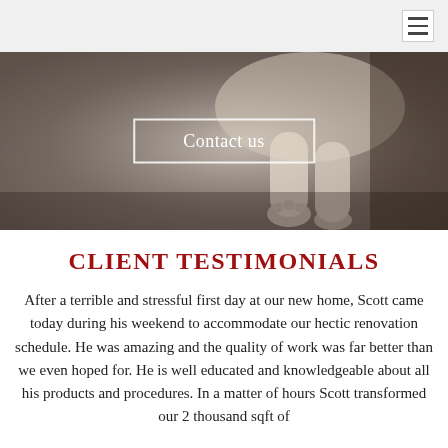[Figure (photo): Hero image of a dog (paws visible) lying on carpet, with a 'Contact us' button overlay]
CLIENT TESTIMONIALS
After a terrible and stressful first day at our new home, Scott came today during his weekend to accommodate our hectic renovation schedule. He was amazing and the quality of work was far better than we even hoped for. He is well educated and knowledgeable about all his products and procedures. In a matter of hours Scott transformed our 2 thousand sqft of